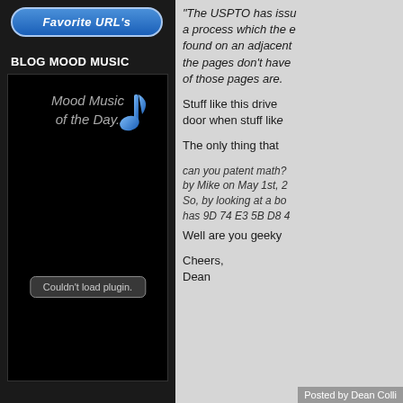[Figure (screenshot): Blue rounded button labeled 'Favorite URL's']
BLOG MOOD MUSIC
[Figure (screenshot): Black music player widget showing 'Mood Music of the Day.' with a blue musical note icon and 'Couldn't load plugin.' error message]
"The USPTO has issued a process which the e found on an adjacent the pages don't have of those pages are.
Stuff like this drive door when stuff like
The only thing that
can you patent math? by Mike on May 1st, 2 So, by looking at a bo has 9D 74 E3 5B D8 4
Well are you geeky
Cheers,
Dean
Posted by Dean Colli